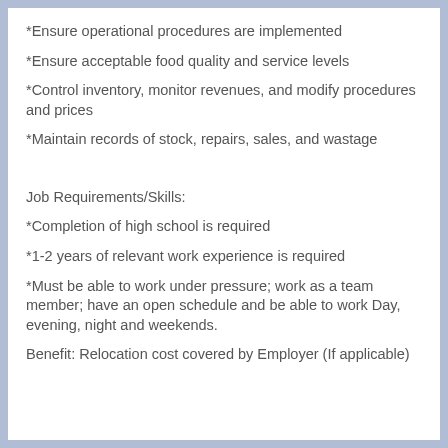*Ensure operational procedures are implemented
*Ensure acceptable food quality and service levels
*Control inventory, monitor revenues, and modify procedures and prices
*Maintain records of stock, repairs, sales, and wastage
Job Requirements/Skills:
*Completion of high school is required
*1-2 years of relevant work experience is required
*Must be able to work under pressure; work as a team member; have an open schedule and be able to work Day, evening, night and weekends.
Benefit: Relocation cost covered by Employer (If applicable)